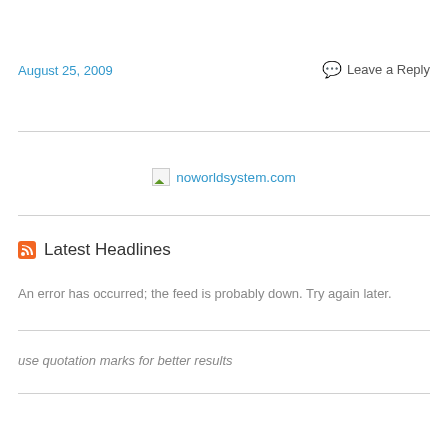August 25, 2009
Leave a Reply
[Figure (other): Broken image thumbnail with green triangle icon next to noworldsystem.com link]
Latest Headlines
An error has occurred; the feed is probably down. Try again later.
use quotation marks for better results
Blogroll